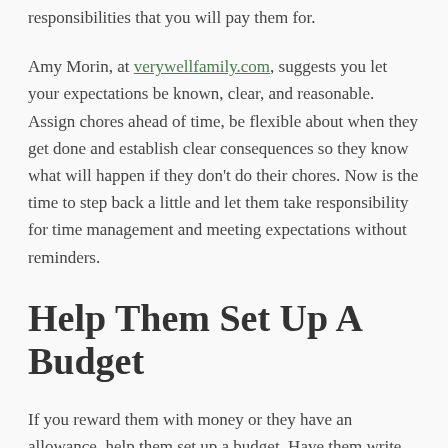responsibilities that you will pay them for.
Amy Morin, at verywellfamily.com, suggests you let your expectations be known, clear, and reasonable. Assign chores ahead of time, be flexible about when they get done and establish clear consequences so they know what will happen if they don't do their chores. Now is the time to step back a little and let them take responsibility for time management and meeting expectations without reminders.
Help Them Set Up A Budget
If you reward them with money or they have an allowance, help them set up a budget. Have them write down what they want and need regularly so they can keep up with it. Older teens who have part-time jobs after school can assume more